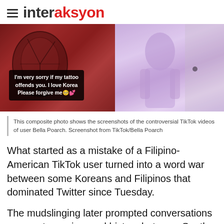interaksyon
[Figure (screenshot): Composite screenshot of TikTok videos by user Bella Poarch. Left side shows a tattoo with a text overlay reading: 'I'm very sorry if my tattoo offends you. I love Korea Please forgive me'. Right side shows a person in a purple/lavender tie-dye outfit.]
This composite photo shows the screenshots of the controversial TikTok videos of user Bella Poarch. Screenshot from TikTok/Bella Poarch
What started as a mistake of a Filipino-American TikTok user turned into a word war between some Koreans and Filipinos that dominated Twitter since Tuesday.
The mudslinging later prompted conversations on counter-racism and history between South Korea and the Philippines on the micro-blogging platform.